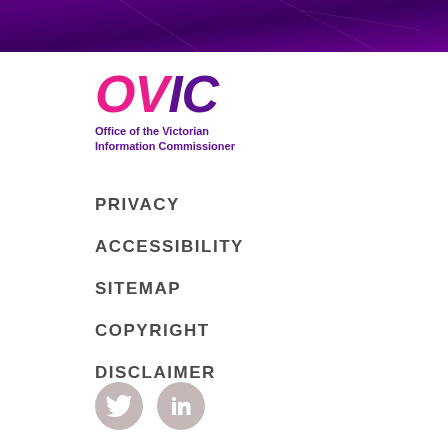[Figure (logo): OVIC - Office of the Victorian Information Commissioner logo with magenta O and V letters and purple I and C letters]
PRIVACY
ACCESSIBILITY
SITEMAP
COPYRIGHT
DISCLAIMER
[Figure (illustration): Social media icons: Twitter and LinkedIn in grey circles]